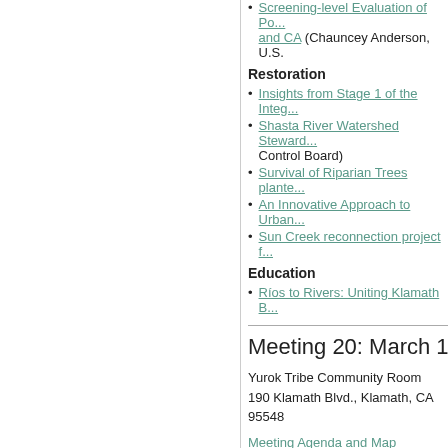Screening-level Evaluation of Po... and CA (Chauncey Anderson, U.S.
Restoration
Insights from Stage 1 of the Integ...
Shasta River Watershed Steward... Control Board)
Survival of Riparian Trees plante...
An Innovative Approach to Urban...
Sun Creek reconnection project f...
Education
Ríos to Rivers: Uniting Klamath B...
Meeting 20: March 15-16, 20...
Yurok Tribe Community Room
190 Klamath Blvd., Klamath, CA 95548
Meeting Agenda and Map
Attendee List 1 2 3
Water Quality